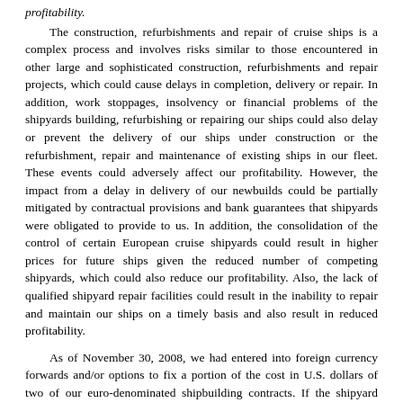profitability.
The construction, refurbishments and repair of cruise ships is a complex process and involves risks similar to those encountered in other large and sophisticated construction, refurbishments and repair projects, which could cause delays in completion, delivery or repair. In addition, work stoppages, insolvency or financial problems of the shipyards building, refurbishing or repairing our ships could also delay or prevent the delivery of our ships under construction or the refurbishment, repair and maintenance of existing ships in our fleet. These events could adversely affect our profitability. However, the impact from a delay in delivery of our newbuilds could be partially mitigated by contractual provisions and bank guarantees that shipyards were obligated to provide to us. In addition, the consolidation of the control of certain European cruise shipyards could result in higher prices for future ships given the reduced number of competing shipyards, which could also reduce our profitability. Also, the lack of qualified shipyard repair facilities could result in the inability to repair and maintain our ships on a timely basis and also result in reduced profitability.
As of November 30, 2008, we had entered into foreign currency forwards and/or options to fix a portion of the cost in U.S. dollars of two of our euro-denominated shipbuilding contracts. If the shipyard with which we have contracted is unable to perform under the related contracts, the foreign currency forwards and/or options related to the shipyard’s shipbuilding contracts would still have to be honored. This might require us to realize a loss on existing foreign currency forwards and/or options without an offsetting gain on our foreign currency denominated shipbuilding contracts, thus resulting in an adverse effect on our financial results. As all of our newbuilds are being built by European shipyards and substantially all our newbuild costs are priced in euros, the ability to purchase ships for our North American and UK brands at favorable U.S. dollar and sterling